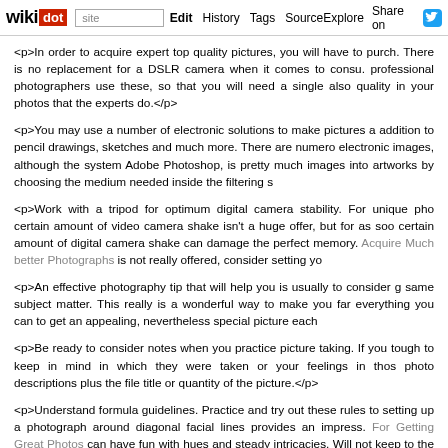wikidot | site | Edit | History | Tags | Source | Explore | Share on [Twitter]
<p>In order to acquire expert top quality pictures, you will have to purch. There is no replacement for a DSLR camera when it comes to consu. professional photographers use these, so that you will need a single also quality in your photos that the experts do.</p>
<p>You may use a number of electronic solutions to make pictures a addition to pencil drawings, sketches and much more. There are numero electronic images, although the system Adobe Photoshop, is pretty much images into artworks by choosing the medium needed inside the filtering s
<p>Work with a tripod for optimum digital camera stability. For unique pho certain amount of video camera shake isn't a huge offer, but for as soo certain amount of digital camera shake can damage the perfect memory. Acquire Much better Photographs is not really offered, consider setting yo
<p>An effective photography tip that will help you is usually to consider g same subject matter. This really is a wonderful way to make you far everything you can to get an appealing, nevertheless special picture each
<p>Be ready to consider notes when you practice picture taking. If you tough to keep in mind in which they were taken or your feelings in thos photo descriptions plus the file title or quantity of the picture.</p>
<p>Understand formula guidelines. Practice and try out these rules to setting up a photograph around diagonal facial lines provides an impress. For Getting Great Photos can have fun with hues and steady intricacies. Will not keep to the guidelines blindly, but learn when you ought to rely on